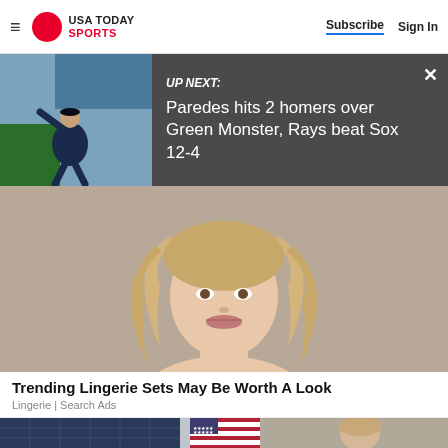USA TODAY SPORTS | Subscribe | Sign In
UP NEXT: Paredes hits 2 homers over Green Monster, Rays beat Sox 12-4
[Figure (photo): Baseball pitcher in dark uniform throwing a pitch, green wall in background]
[Figure (photo): Close-up of blonde woman with wavy hair, lips slightly parted, bare shoulders, neutral beige background - advertisement image for lingerie]
Trending Lingerie Sets May Be Worth A Look
Lingerie | Search Ads
[Figure (photo): Split image: left shows solar panels and an American flag, right shows a woman with straight brown hair in a gray/beige background - appears to be an advertisement]